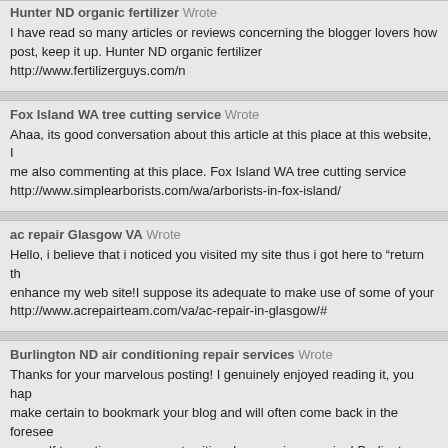Hunter ND organic fertilizer Wrote
I have read so many articles or reviews concerning the blogger lovers how post, keep it up. Hunter ND organic fertilizer http://www.fertilizerguys.com/n
Fox Island WA tree cutting service Wrote
Ahaa, its good conversation about this article at this place at this website, me also commenting at this place. Fox Island WA tree cutting service http://www.simplearborists.com/wa/arborists-in-fox-island/
ac repair Glasgow VA Wrote
Hello, i believe that i noticed you visited my site thus i got here to “return th enhance my web site!I suppose its adequate to make use of some of your http://www.acrepairteam.com/va/ac-repair-in-glasgow/#
Burlington ND air conditioning repair services Wrote
Thanks for your marvelous posting! I genuinely enjoyed reading it, you hap make certain to bookmark your blog and will often come back in the foresee yourself to continue your great writing, have a nice morning! Burlington ND http://www.acrepairteam.com/nd/ac-repair-in-burlington/#